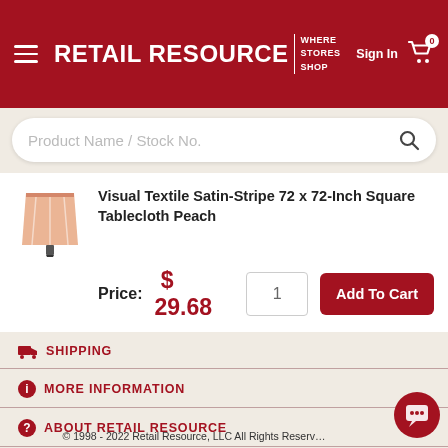RETAIL RESOURCE WHERE STORES SHOP — Sign In — Cart (0)
Visual Textile Satin-Stripe 72 x 72-Inch Square Tablecloth Peach
Price: $ 29.68
SHIPPING
MORE INFORMATION
ABOUT RETAIL RESOURCE
[Figure (logo): GoDaddy Verified & Secured badge with green lock icon]
© 1998 - 2022 Retail Resource, LLC All Rights Reserved